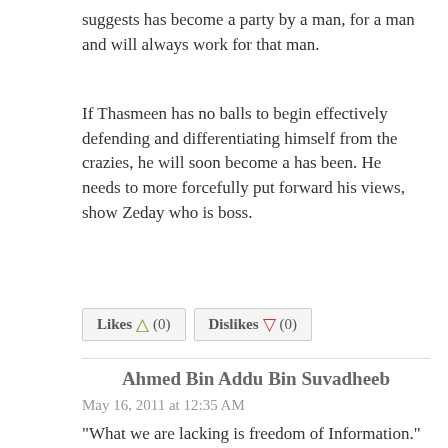suggests has become a party by a man, for a man and will always work for that man.
If Thasmeen has no balls to begin effectively defending and differentiating himself from the crazies, he will soon become a has been. He needs to more forcefully put forward his views, show Zeday who is boss.
[Figure (other): Likes (0) and Dislikes (0) buttons with thumbs up and thumbs down icons]
Ahmed Bin Addu Bin Suvadheeb
May 16, 2011 at 12:35 AM
"What we are lacking is freedom of Information."
Very true. A very high priority item for the